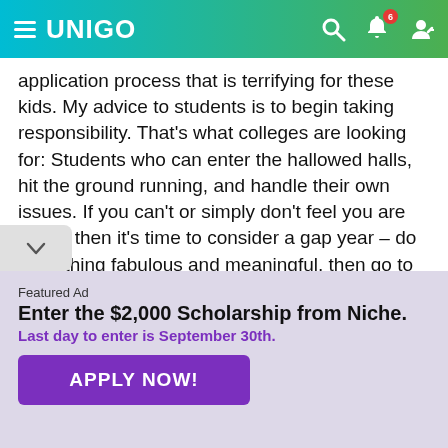UNIGO
application process that is terrifying for these kids. My advice to students is to begin taking responsibility. That’s what colleges are looking for: Students who can enter the hallowed halls, hit the ground running, and handle their own issues. If you can’t or simply don’t feel you are ready, then it’s time to consider a gap year – do something fabulous and meaningful, then go to college. It will always be there. Your parents want you out of the house and thriving on your own. It’s your life, not your parents. Be successful. This is your opportunity to grab your
Featured Ad
Enter the $2,000 Scholarship from Niche.
Last day to enter is September 30th.
APPLY NOW!